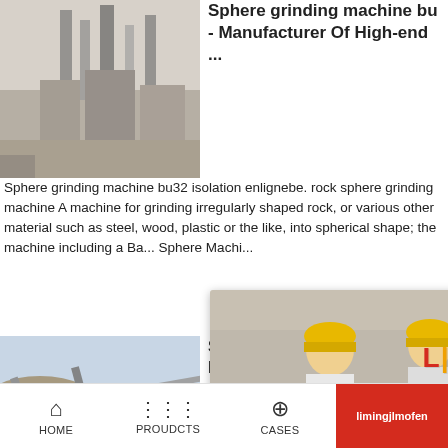[Figure (photo): Industrial factory/cement plant with tall chimneys and industrial buildings, black and white tones]
Sphere grinding machine bu - Manufacturer Of High-end ...
Sphere grinding machine bu32 isolation enlignebe. rock sphere grinding machine A machine for grinding irregularly shaped rock, or various other material such as steel, wood, plastic or the like, into spherical shape; the machine including a Ba... Sphere Machi...
[Figure (photo): Live Chat popup with workers in hard hats and a customer service agent with headset. Contains LIVE CHAT label, Chat now and Chat later buttons.]
[Figure (photo): Mining/quarrying machinery and conveyor belts at an outdoor site]
Sphere Grind... Machine Bu...
2020-11-26  Sph...
Need questions & suggestion?
Chat Now
Enquiry
limingjlmofen
HOME   PROUDCTS   CASES   limingjlmofen